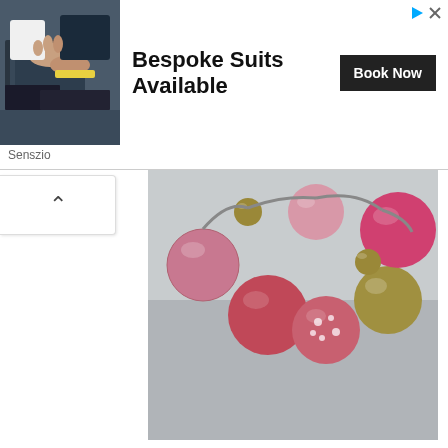[Figure (photo): Advertisement banner: photo of hands examining fabric swatches on left, text 'Bespoke Suits Available' in center, 'Book Now' button on right. Source: Senszio]
[Figure (photo): Photo of a colorful beaded necklace with pink, red, gold, and patterned beads arranged in a curve against a light gray background.]
Point and shoot - under exposed and no focus lock
Here's a point and shoot photo of a necklace using the Steady Stand SS200 and the Canon Powershot SX220. What has gone wrong here is the Camera has 'not locked on' focus as the centre of the image is just plain white and the camera can't see anything to focus on - look out for warning symbol on LCD viewfinder like yellow rectangle as the inset above. Most Compact Cameras lock on focus only in the central area